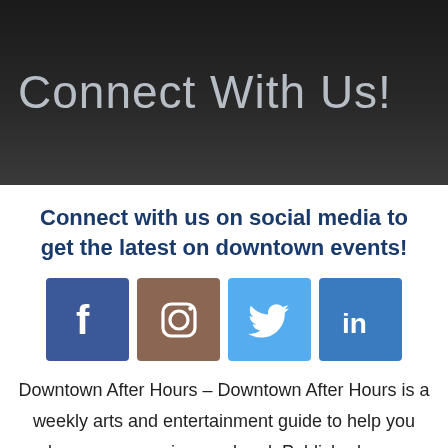[Figure (photo): Dark hero banner with crowd silhouette background and text 'Connect With Us!']
Connect with us on social media to get the latest on downtown events!
[Figure (infographic): Four social media icons in a row: Facebook (blue), Instagram (brown), Twitter (light blue), LinkedIn (blue)]
Downtown After Hours – Downtown After Hours is a weekly arts and entertainment guide to help you plan your upcoming weekend. Published every Thursday, it provides information on